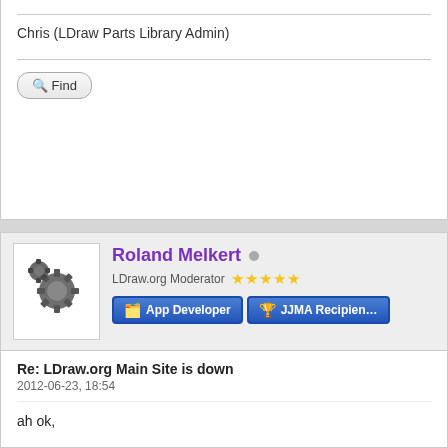Chris (LDraw Parts Library Admin)
Find
Roland Melkert
LDraw.org Moderator ★★★★★
App Developer
JJMA Recipient
Re: LDraw.org Main Site is down
2012-06-23, 18:54
ah ok,
It's a bit user unfriendly though, if I may say so 😀
I often also miss a way to check if a part exists at all (officia
Find